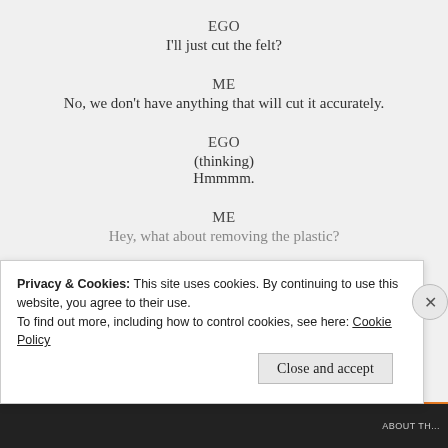EGO
I'll just cut the felt?
ME
No, we don't have anything that will cut it accurately.
EGO
(thinking)
Hmmmm.
ME
Hey, what about removing the plastic?
Privacy & Cookies: This site uses cookies. By continuing to use this website, you agree to their use.
To find out more, including how to control cookies, see here: Cookie Policy
Close and accept